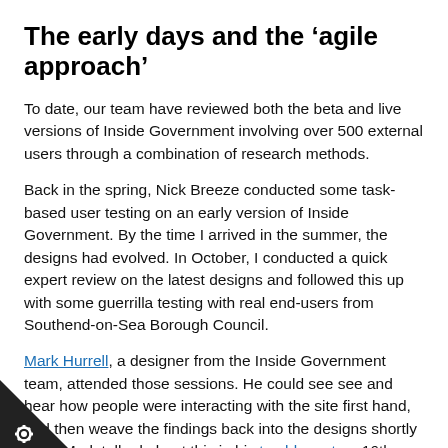The early days and the 'agile approach'
To date, our team have reviewed both the beta and live versions of Inside Government involving over 500 external users through a combination of research methods.
Back in the spring, Nick Breeze conducted some task-based user testing on an early version of Inside Government. By the time I arrived in the summer, the designs had evolved. In October, I conducted a quick expert review on the latest designs and followed this up with some guerrilla testing with real end-users from Southend-on-Sea Borough Council.
Mark Hurrell, a designer from the Inside Government team, attended those sessions. He could see see and hear how people were interacting with the site first hand, and then weave the findings back into the designs shortly after. Mark talked about this in his tumblr post on 16th October.
This guerrilla approach to user testing works well. Sessions informal, focussed on specific features and, with ement teams so closely involved, there's very little